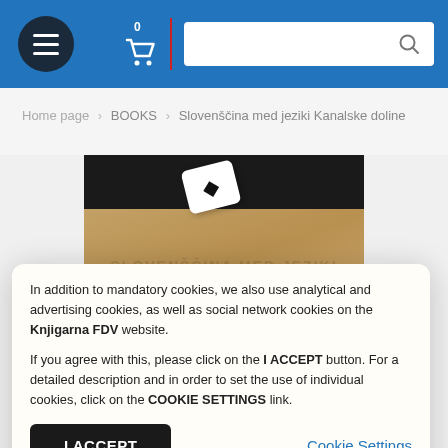Header navigation with menu button, cart (0 items), and search box
Home page > BOOKS > Slovenščina med jeziki Kanalske doline
[Figure (photo): Book cover photo showing a wooden surface with a dice-like object, for the book 'Slovenščina med jeziki Kanalske doline']
In addition to mandatory cookies, we also use analytical and advertising cookies, as well as social network cookies on the Knjigarna FDV website.

If you agree with this, please click on the I ACCEPT button. For a detailed description and in order to set the use of individual cookies, click on the COOKIE SETTINGS link.
I ACCEPT
Cookie Settings